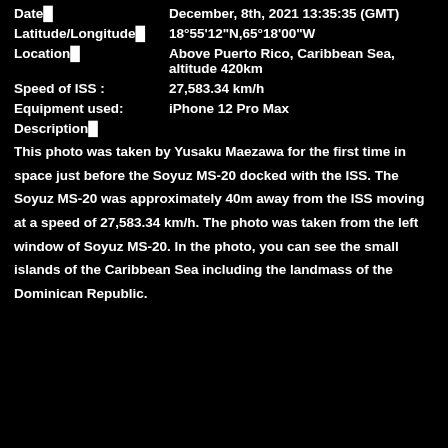Date■   December, 8th, 2021 13:35:35 (GMT)
Latitude/Longitude■   18°55'12"N,65°18'00"W
Location■   Above Puerto Rico, Caribbean Sea, altitude 420km
Speed of ISS :   27,583.34 km/h
Equipment used:   iPhone 12 Pro Max
Description■
This photo was taken by Yusaku Maezawa for the first time in space just before the Soyuz MS-20 docked with the ISS. The Soyuz MS-20 was approximately 40m away from the ISS moving at a speed of 27,583.34 km/h. The photo was taken from the left window of Soyuz MS-20. In the photo, you can see the small islands of the Caribbean Sea including the landmass of the Dominican Republic.